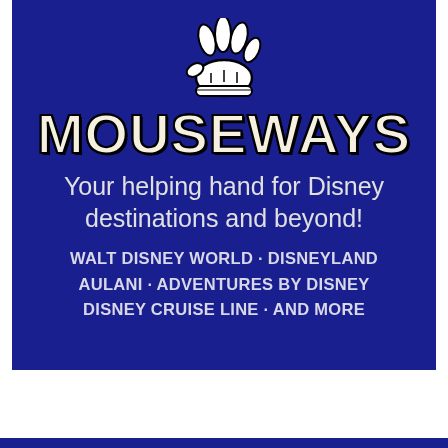[Figure (logo): Mouseways logo: a Mickey Mouse-style white cartoon glove waving, with black outline, on dark navy blue background]
MOUSEWAYS
Your helping hand for Disney destinations and beyond!
WALT DISNEY WORLD · DISNEYLAND AULANI · ADVENTURES BY DISNEY DISNEY CRUISE LINE · AND MORE